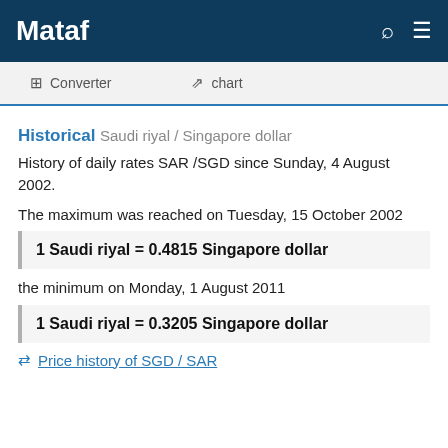Mataf
Converter  chart
Historical Saudi riyal / Singapore dollar
History of daily rates SAR /SGD since Sunday, 4 August 2002.
The maximum was reached on Tuesday, 15 October 2002
1 Saudi riyal = 0.4815 Singapore dollar
the minimum on Monday, 1 August 2011
1 Saudi riyal = 0.3205 Singapore dollar
⇄ Price history of SGD / SAR